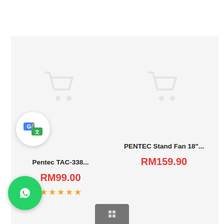[Figure (screenshot): E-commerce product listing screenshot showing two product cards side by side. Left card: Pentec TAC-338... priced at RM99.00 with 5-star rating. Right card: PENTEC Stand Fan 18"... priced at RM159.90. Both cards show placeholder shopping cart icons. A Google Translate badge overlays the left card. A WhatsApp button appears at bottom left. A small grey pagination button appears at the bottom center.]